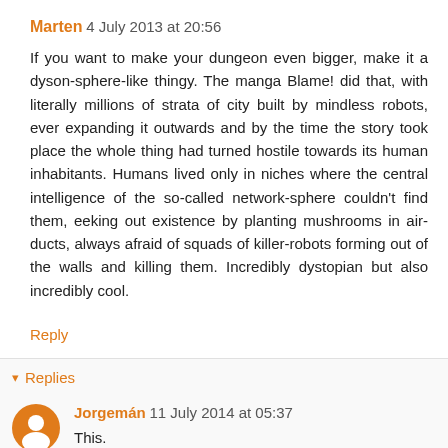Marten  4 July 2013 at 20:56
If you want to make your dungeon even bigger, make it a dyson-sphere-like thingy. The manga Blame! did that, with literally millions of strata of city built by mindless robots, ever expanding it outwards and by the time the story took place the whole thing had turned hostile towards its human inhabitants. Humans lived only in niches where the central intelligence of the so-called network-sphere couldn't find them, eeking out existence by planting mushrooms in air-ducts, always afraid of squads of killer-robots forming out of the walls and killing them. Incredibly dystopian but also incredibly cool.
Reply
▾ Replies
Jorgemán  11 July 2014 at 05:37
This.
It's like a technological mythic underworld. Nonsensical titanesque architectures, odd